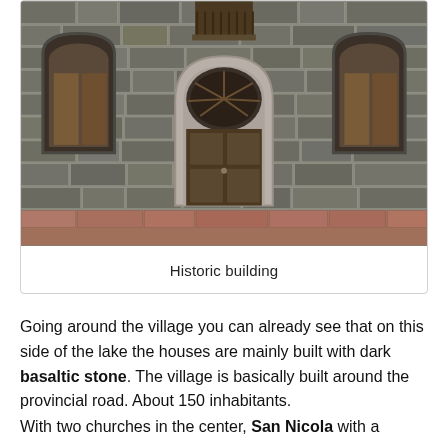[Figure (photo): Photograph of a historic building facade made of dark basaltic stone, featuring a central arched wooden door with decorative fanlight, two arched windows on the sides, and a small wooden balcony above the central door.]
Historic building
Going around the village you can already see that on this side of the lake the houses are mainly built with dark basaltic stone. The village is basically built around the provincial road. About 150 inhabitants.
With two churches in the center, San Nicola with a